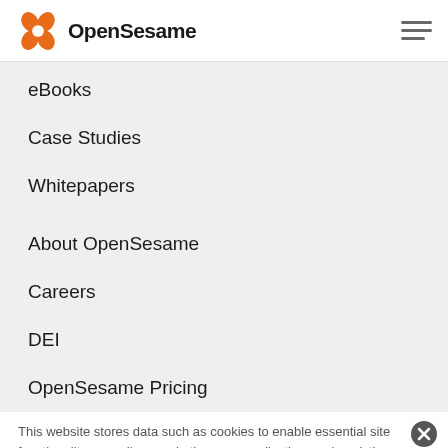[Figure (logo): OpenSesame logo with orange sesame seed icon and black text]
eBooks
Case Studies
Whitepapers
About OpenSesame
Careers
DEI
OpenSesame Pricing
This website stores data such as cookies to enable essential site functionality, as well as marketing, personalization, and analytics. By remaining on this website you indicate your consent. Data Storage Policy